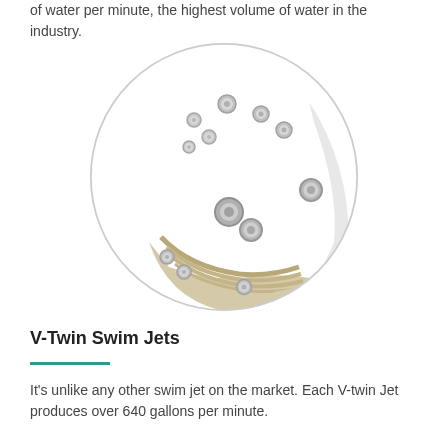of water per minute, the highest volume of water in the industry.
[Figure (photo): Top-down circular view of a hot tub or swim spa showing multiple jets arranged in the white acrylic basin with a beige/cream colored seat or pillow area at the bottom.]
V-Twin Swim Jets
It's unlike any other swim jet on the market. Each V-twin Jet produces over 640 gallons per minute.